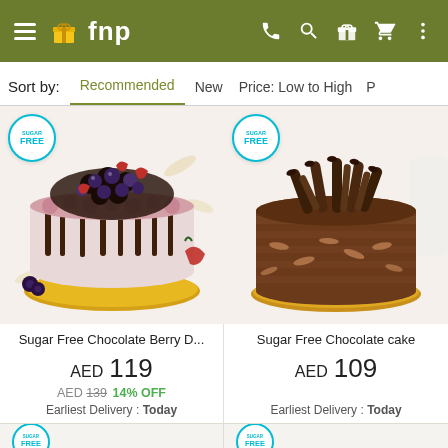fnp — navigation bar with hamburger menu, logo, phone, search, gift, cart, more icons
Sort by: Recommended | New | Price: Low to High | P...
[Figure (photo): Sugar Free Chocolate Berry Drip cake with mixed berries on top, chocolate drizzle sides, on gold board, with SUGAR FREE badge]
[Figure (photo): Sugar Free Chocolate cake covered in chocolate frosting with chocolate curls on top, on gold board, with SUGAR FREE badge]
Sugar Free Chocolate Berry D...
Sugar Free Chocolate cake
AED 119
AED 109
AED 139 14% OFF
Earliest Delivery : Today
Earliest Delivery : Today